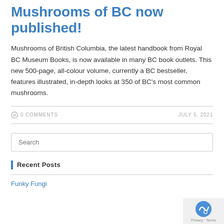Mushrooms of BC now published!
Mushrooms of British Columbia, the latest handbook from Royal BC Museum Books, is now available in many BC book outlets. This new 500-page, all-colour volume, currently a BC bestseller, features illustrated, in-depth looks at 350 of BC's most common mushrooms.
0 COMMENTS   JULY 5, 2021
Search
Recent Posts
Funky Fungi